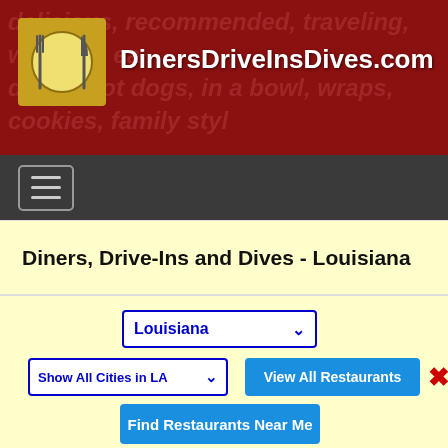[Figure (screenshot): DinersDriveInsDives.com website header banner with logo (fork, plate, knife icon) and site name in white bold text on dark red background with watermark food-related words]
[Figure (screenshot): Dark gray navigation bar with hamburger menu icon (three horizontal lines in a rounded rectangle)]
Diners, Drive-Ins and Dives - Louisiana
[Figure (screenshot): Filter controls: Louisiana state dropdown, Show All Cities in LA city dropdown, View All Restaurants blue button, red X close button, Find Restaurants Near Me blue button]